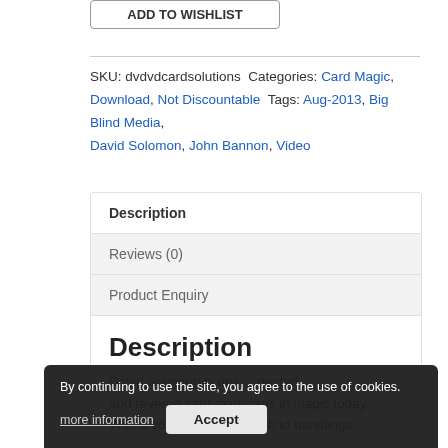ADD TO WISHLIST (button stub)
SKU: dvdvdcardsolutions Categories: Card Magic, Download, Not Discountable Tags: Aug-2013, Big Blind Media, David Solomon, John Bannon, Video
Description
Reviews (0)
Product Enquiry
Description
David Solomon is one ...pected and revered card magicians in magic today. With a compelling approach to handlings
By continuing to use the site, you agree to the use of cookies.
more information
Accept